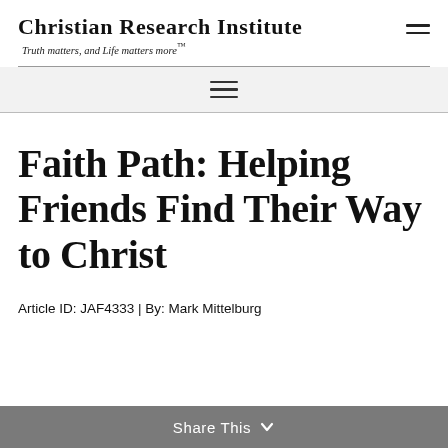Christian Research Institute — Truth matters, and Life matters more™
Faith Path: Helping Friends Find Their Way to Christ
Article ID: JAF4333 | By: Mark Mittelburg
Share This